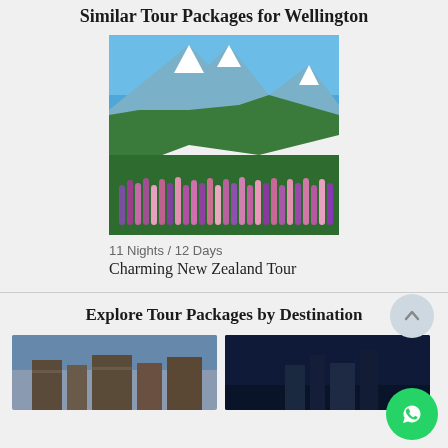Similar Tour Packages for Wellington
[Figure (photo): Landscape photo of New Zealand mountain valley with snow-capped peaks and colorful lupine flowers in the foreground]
11 Nights / 12 Days
Charming New Zealand Tour
Explore Tour Packages by Destination
[Figure (photo): Photo of ancient stone ruins or fortress]
[Figure (photo): Photo of dark blue sky or nighttime destination]